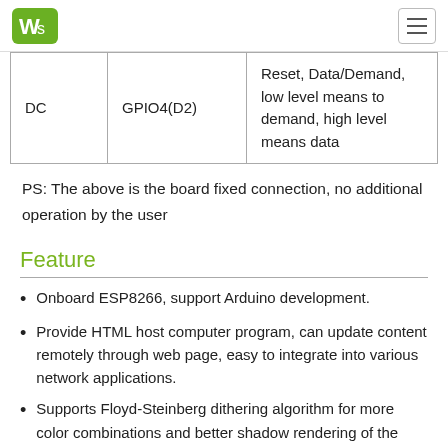Waveshare logo and navigation
| DC | GPIO4(D2) | Reset, Data/Demand, low level means to demand, high level means data |
PS: The above is the board fixed connection, no additional operation by the user
Feature
Onboard ESP8266, support Arduino development.
Provide HTML host computer program, can update content remotely through web page, easy to integrate into various network applications.
Supports Floyd-Steinberg dithering algorithm for more color combinations and better shadow rendering of the original image.